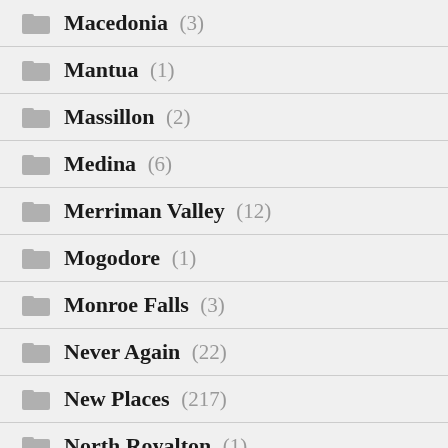Macedonia (3)
Mantua (1)
Massillon (2)
Medina (6)
Merriman Valley (12)
Mogodore (1)
Monroe Falls (3)
Never Again (22)
New Places (217)
North Royalton (1)